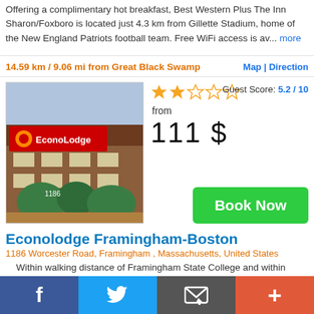Offering a complimentary hot breakfast, Best Western Plus The Inn Sharon/Foxboro is located just 4.3 km from Gillette Stadium, home of the New England Patriots football team. Free WiFi access is av... more
14.59 km / 9.06 mi from Great Black Swamp
Map | Directions
[Figure (photo): Exterior photo of Econolodge motel with red sign and green shrubs]
2 out of 5 stars
Guest Score: 5.2 / 10
from
111 $
Book Now
Econolodge Framingham-Boston
1186 Worcester Road, Framingham , Massachusetts, United States
Within walking distance of Framingham State College and within driving distance of Boston city centre, this Massachusetts motel offers convenient services such as free wireless high-speed internet acc... more